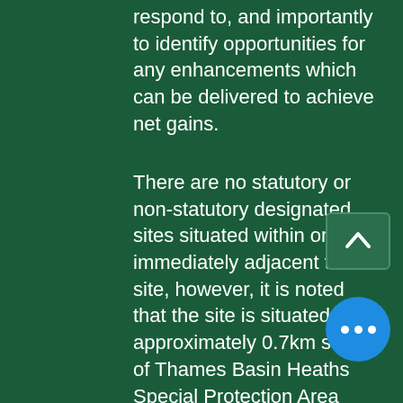respond to, and importantly to identify opportunities for any enhancements which can be delivered to achieve net gains.
There are no statutory or non-statutory designated sites situated within or immediately adjacent to the site, however, it is noted that the site is situated approximately 0.7km south of Thames Basin Heaths Special Protection Area (SPA). As such, in accordance with the strategic approach towards mitigation, suitable financial contributions will be made towards the management and maintenance of an existing strategic Suitable Alternative Natural Greenspace (SANG) within the local area, as well as towards Strategic Access Management and Monitoring (SAMM) measures, to mitigate for potential effects upon this European designated site arising due to an